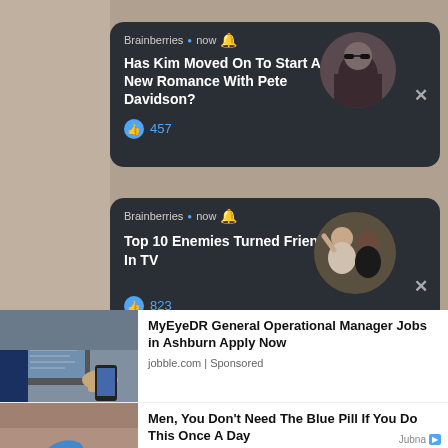[Figure (screenshot): Brainberries notification card 1: 'Has Kim Moved On To Start A New Romance With Pete Davidson?' with 457 likes and circular photo of woman in sunglasses]
[Figure (screenshot): Brainberries notification card 2: 'Top 10 Enemies Turned Friends In TV' with 823 likes and circular photo of two women]
[Figure (other): Chevron/down arrow button on left side]
[Figure (photo): Ad image: persons working at a laptop/desk, business setting]
MyEyeDR General Operational Manager Jobs in Ashburn Apply Now
jobble.com | Sponsored
[Figure (photo): Ad image: blue pill (VGR100) held between fingers]
Men, You Don't Need The Blue Pill If You Do This Once A Day
iamhealth.life | Sponsored
Jubna